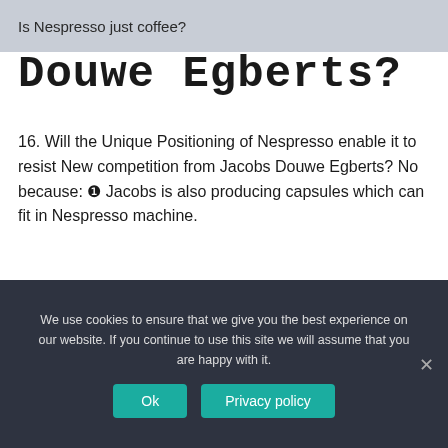Is Nespresso just coffee?
Douwe Egberts?
16. Will the Unique Positioning of Nespresso enable it to resist New competition from Jacobs Douwe Egberts? No because: ❶ Jacobs is also producing capsules which can fit in Nespresso machine.
Does Nespresso make real crema?
We use cookies to ensure that we give you the best experience on our website. If you continue to use this site we will assume that you are happy with it.